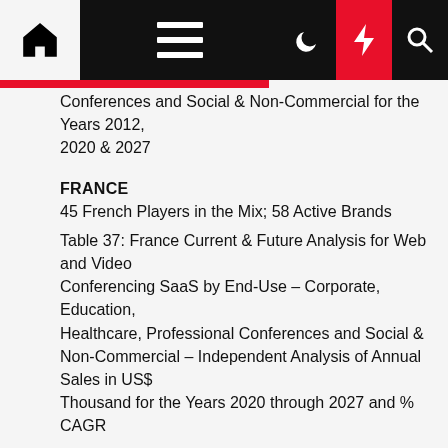navbar with home, menu, dark mode, lightning, search icons
Conferences and Social & Non-Commercial for the Years 2012,
2020 & 2027
FRANCE
45 French Players in the Mix; 58 Active Brands
Table 37: France Current & Future Analysis for Web and Video Conferencing SaaS by End-Use – Corporate, Education,
Healthcare, Professional Conferences and Social & Non-Commercial – Independent Analysis of Annual Sales in US$
Thousand for the Years 2020 through 2027 and % CAGR
Table 38: France Historic Review for Web and Video Conferencing